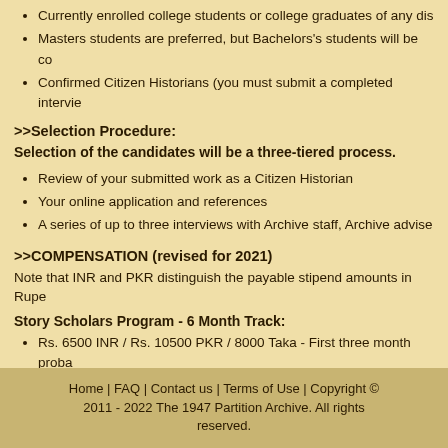Currently enrolled college students or college graduates of any dis
Masters students are preferred, but Bachelors's students will be co
Confirmed Citizen Historians (you must submit a completed intervie
>>Selection Procedure:
Selection of the candidates will be a three-tiered process.
Review of your submitted work as a Citizen Historian
Your online application and references
A series of up to three interviews with Archive staff, Archive advise
>>COMPENSATION (revised for 2021)
Note that INR and PKR distinguish the payable stipend amounts in Rupe
Story Scholars Program - 6 Month Track:
Rs. 6500 INR / Rs. 10500 PKR / 8000 Taka - First three month proba
Rs. 12000 INR / Rs. 20000 PKR / 15000 Taka - Month 4 to Month 6
Home | FAQ | Contact us | Terms of Use | Copyright © 2011 - 2022 The 1947 Partition Archive. All rights reserved.